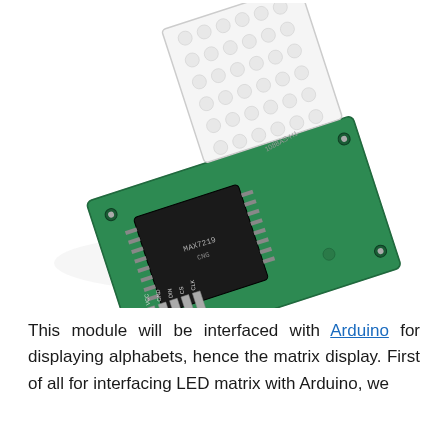[Figure (photo): An LED dot matrix display module (8x5 red LED grid) mounted on a green PCB with a MAX7219 IC chip and 5 header pins labeled VCC, GND, DIN, CS, CLK. The LED matrix panel is labeled 1088AS-H1. The module is shown at an angle against a white background.]
This module will be interfaced with Arduino for displaying alphabets, hence the matrix display. First of all for interfacing LED matrix with Arduino, we